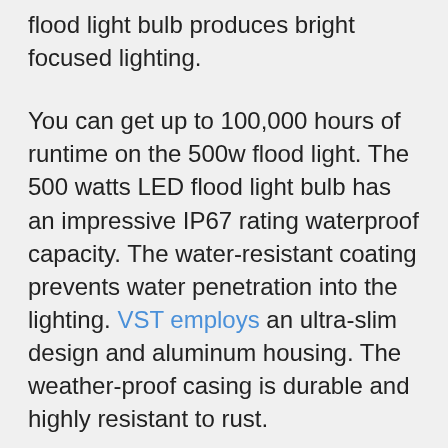flood light bulb produces bright focused lighting.
You can get up to 100,000 hours of runtime on the 500w flood light. The 500 watts LED flood light bulb has an impressive IP67 rating waterproof capacity. The water-resistant coating prevents water penetration into the lighting. VST employs an ultra-slim design and aluminum housing. The weather-proof casing is durable and highly resistant to rust.
You should note that the 500w LED flood light further has a heat dissipation system to avoid excessive heat. The temperature also is...